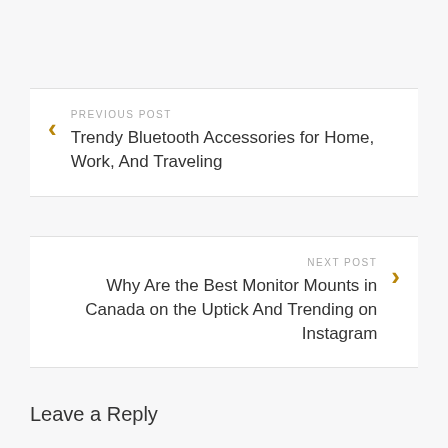PREVIOUS POST
Trendy Bluetooth Accessories for Home, Work, And Traveling
NEXT POST
Why Are the Best Monitor Mounts in Canada on the Uptick And Trending on Instagram
Leave a Reply